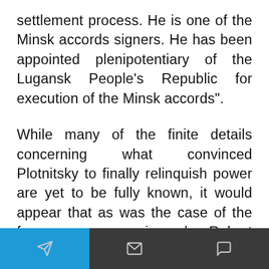settlement process. He is one of the Minsk accords signers. He has been appointed plenipotentiary of the Lugansk People's Republic for execution of the Minsk accords".
While many of the finite details concerning what convinced Plotnitsky to finally relinquish power are yet to be fully known, it would appear that as was the case of the far more experienced Robert Mugabe in Zimbabwe, Plotnitsky realised that his former comrades wanted a changing of the guard and like all leaders who would rather